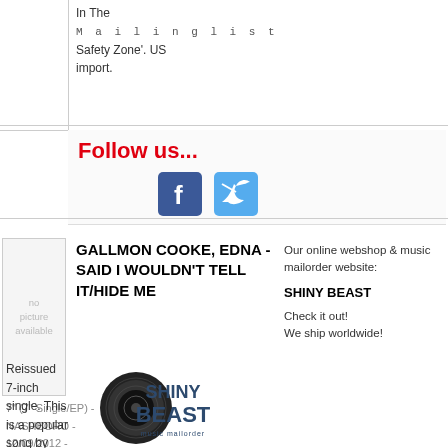In The Safety Zone'. US import.
Mailinglist
Follow us...
[Figure (logo): Facebook and Twitter social media icons]
[Figure (photo): No picture available placeholder]
GALLMON COOKE, EDNA - SAID I WOULDN'T TELL IT/HIDE ME
7" (7" Single/EP) - NASHBORO - 12/09/2012 - SOUL, LATIN, R&B / GOSPEL
[Figure (logo): Shiny Beast music mailorder logo with vinyl record graphic]
Our online webshop & music mailorder website:
SHINY BEAST
Check it out! We ship worldwide!
Reissued 7-inch single. This is a popular song by Edna